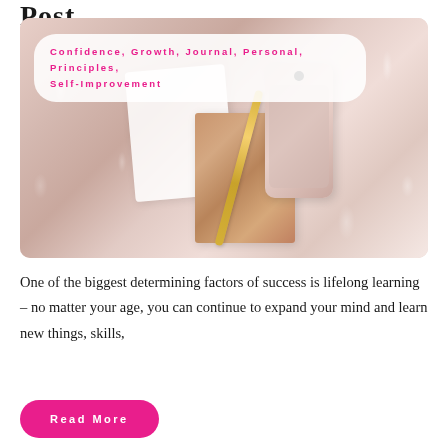Post
[Figure (photo): Flat lay photo of a rose gold glitter journal/notebook, a gold pen, a pink iPhone, and a white card on a fluffy white/pink fur background, with category tags overlay showing: Confidence, Growth, Journal, Personal, Principles, Self-Improvement]
One of the biggest determining factors of success is lifelong learning – no matter your age, you can continue to expand your mind and learn new things, skills,
Read More